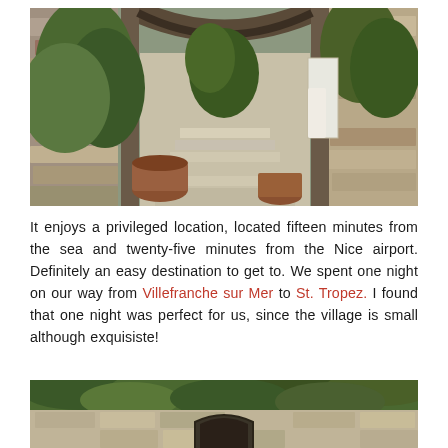[Figure (photo): Stone archway courtyard with lush green plants, potted terracotta urns, stone steps leading through arch, ivy-covered stone walls, Mediterranean village architecture]
It enjoys a privileged location, located fifteen minutes from the sea and twenty-five minutes from the Nice airport. Definitely an easy destination to get to. We spent one night on our way from Villefranche sur Mer to St. Tropez. I found that one night was perfect for us, since the village is small although exquisiste!
[Figure (photo): Stone building facade covered in green ivy, with an arched doorway visible, Mediterranean architectural style]